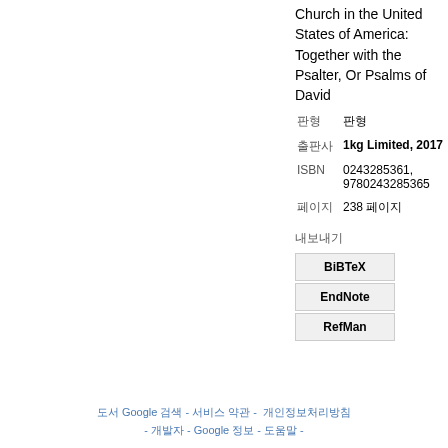Church in the United States of America: Together with the Psalter, Or Psalms of David
| 판형 | 판형 |
| 출판사 | 1kg Limited, 2017 |
| ISBN | 0243285361, 9780243285365 |
| 페이지 | 238 페이지 |
내보내기
BiBTeX
EndNote
RefMan
도서 Google 검색 - 서비스 약관 - 개인정보처리방침 - 개발자 - Google 정보 - 도움말 -